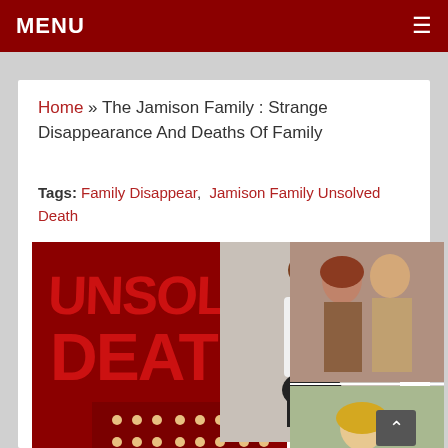MENU
Home » The Jamison Family : Strange Disappearance And Deaths Of Family
Tags: Family Disappear, Jamison Family Unsolved Death
[Figure (illustration): Composite image showing 'Unsolved Death' Crime Threat graphic on left with a woman sitting cross-legged, and two photos on right: top showing a couple (man and woman), bottom showing a young blonde girl. Below shows 'JAMISON FAMILY' text.]